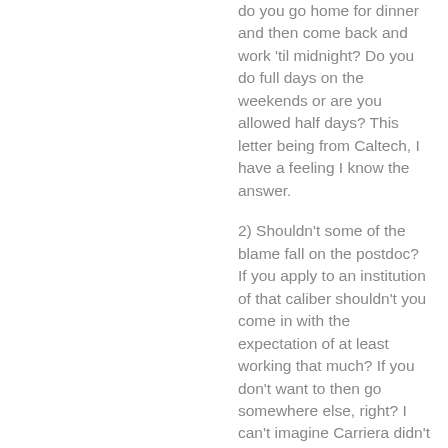do you go home for dinner and then come back and work 'til midnight? Do you do full days on the weekends or are you allowed half days? This letter being from Caltech, I have a feeling I know the answer.
2) Shouldn't some of the blame fall on the postdoc? If you apply to an institution of that caliber shouldn't you come in with the expectation of at least working that much? If you don't want to then go somewhere else, right? I can't imagine Carriera didn't let him know at the interview what was expected. I'm willing to bet